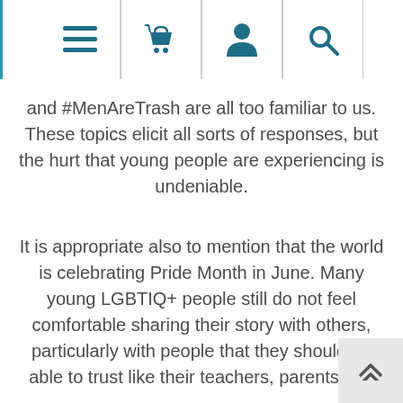[Navigation bar with menu, basket, user, and search icons]
and #MenAreTrash are all too familiar to us. These topics elicit all sorts of responses, but the hurt that young people are experiencing is undeniable.
It is appropriate also to mention that the world is celebrating Pride Month in June. Many young LGBTIQ+ people still do not feel comfortable sharing their story with others, particularly with people that they should be able to trust like their teachers, parents and